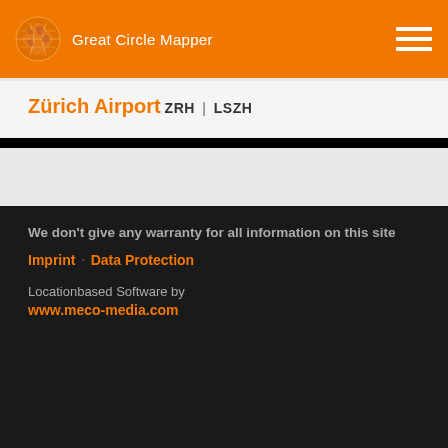Great Circle Mapper
Zürich Airport
ZRH | LSZH
We don't give any warranty for all information on this site
Imprint · Data Protection
Locationbased Software by www.meco-media.com